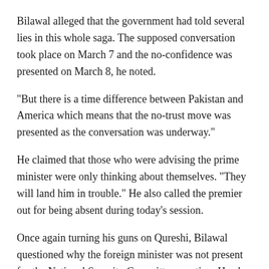Bilawal alleged that the government had told several lies in this whole saga. The supposed conversation took place on March 7 and the no-confidence was presented on March 8, he noted.
"But there is a time difference between Pakistan and America which means that the no-trust move was presented as the conversation was underway."
He claimed that those who were advising the prime minister were only thinking about themselves. "They will land him in trouble." He also called the premier out for being absent during today's session.
Once again turning his guns on Qureshi, Bilawal questioned why the foreign minister was not present for the National Security Committee meeting. He also questioned why the statement issued after the meeting did not mention the no-trust motion. "It just